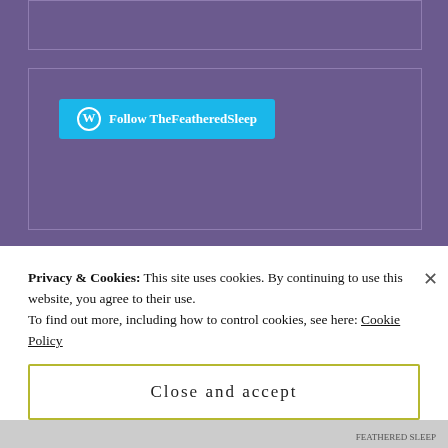[Figure (screenshot): Partial top widget box on purple blog background]
[Figure (screenshot): WordPress Follow TheFeatheredSleep button widget in a bordered box on purple background]
[Figure (photo): Three photos side by side: black and white photo of woman with arms crossed, black and white photo of woman leaning over a cake, and a classical painting of women in pink dresses]
Privacy & Cookies: This site uses cookies. By continuing to use this website, you agree to their use.
To find out more, including how to control cookies, see here: Cookie Policy
Close and accept